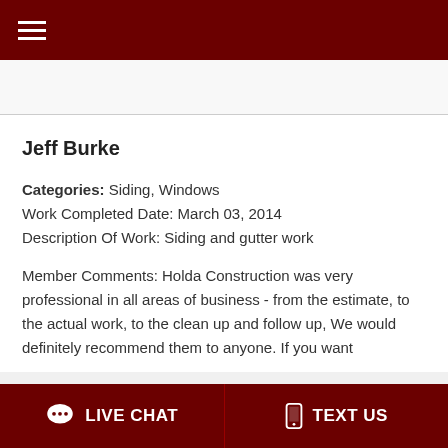☰ (menu icon)
Jeff Burke
Categories: Siding, Windows
Work Completed Date: March 03, 2014
Description Of Work: Siding and gutter work
Member Comments: Holda Construction was very professional in all areas of business - from the estimate, to the actual work, to the clean up and follow up, We would definitely recommend them to anyone. If you want
LIVE CHAT    TEXT US